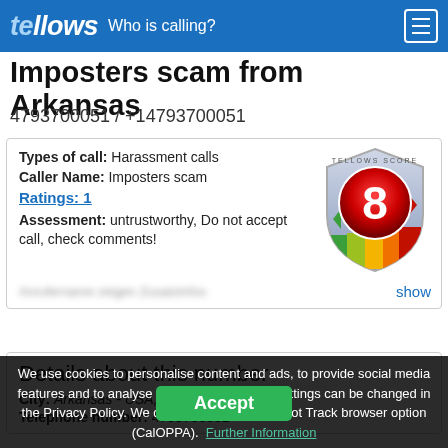tellows — Who is calling?
Imposters scam from Arkansas
4793700051 / +14793700051
Types of call: Harassment calls
Caller Name: Imposters scam
Ratings: 1
Assessment: untrustworthy, Do not accept call, check comments!
[Figure (other): Tellows Score shield badge showing score 8 in red/orange gradient]
Anrufername zeigen Zusatzinfos  show
Details about this number
City: Arkansas - USA, Country
Telephone number: 4793700051
Accept
We use cookies to personalise content and ads, to provide social media features and to analyse our traffic. Individual settings can be changed in the Privacy Policy. We do not support the Do Not Track browser option (CalOPPA).  Further Information